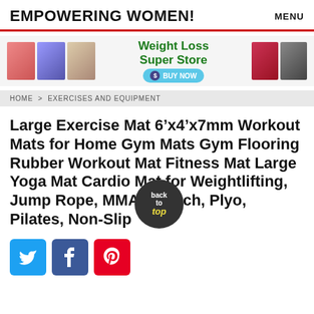EMPOWERING WOMEN!    MENU
[Figure (illustration): Advertisement banner for Weight Loss Super Store with product images, green bold text, and a Buy Now button]
HOME > EXERCISES AND EQUIPMENT
Large Exercise Mat 6’x4’x7mm Workout Mats for Home Gym Mats Gym Flooring Rubber Workout Mat Fitness Mat Large Yoga Mat Cardio Mat for Weightlifting, Jump Rope, MMA, Stretch, Plyo, Pilates, Non-Slip
[Figure (infographic): Social share buttons: Twitter (blue), Facebook (dark blue), Pinterest (red)]